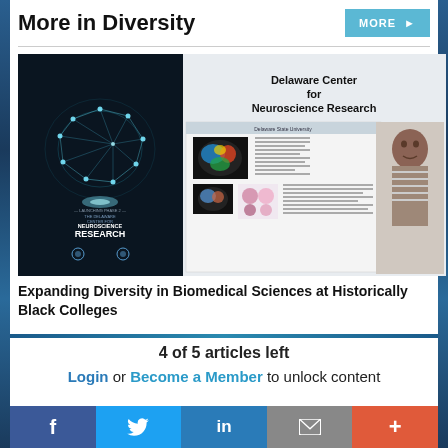More in Diversity
[Figure (photo): Delaware Center for Neuroscience Research composite image: left side shows a dark background with a glowing brain made of light nodes/connections and text 'LAUNCHING PHASE 2 THE DELAWARE CENTER FOR NEUROSCIENCE RESEARCH' with Delaware State University logo; right side shows a research poster with brain scan images and a student standing beside it, plus large text 'Delaware Center for Neuroscience Research']
Expanding Diversity in Biomedical Sciences at Historically Black Colleges
4 of 5 articles left
Login or Become a Member to unlock content